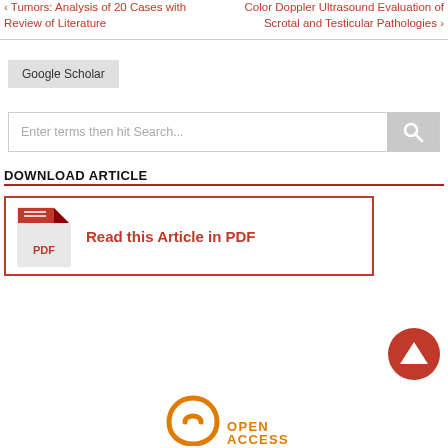Tumors: Analysis of 20 Cases with Review of Literature
Color Doppler Ultrasound Evaluation of Scrotal and Testicular Pathologies ›
Google Scholar
Enter terms then hit Search...
DOWNLOAD ARTICLE
Read this Article in PDF
[Figure (logo): Open Access logo with orange lock/access symbol and text OPEN ACCESS]
[Figure (illustration): Red circular back-to-top button with upward triangle arrow]